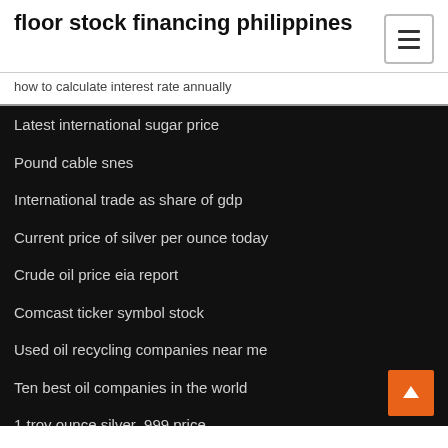floor stock financing philippines
how to calculate interest rate annually
Latest international sugar price
Pound cable snes
International trade as share of gdp
Current price of silver per ounce today
Crude oil price eia report
Comcast ticker symbol stock
Used oil recycling companies near me
Ten best oil companies in the world
1 troy ounce silver .999 price
Renault dividend history